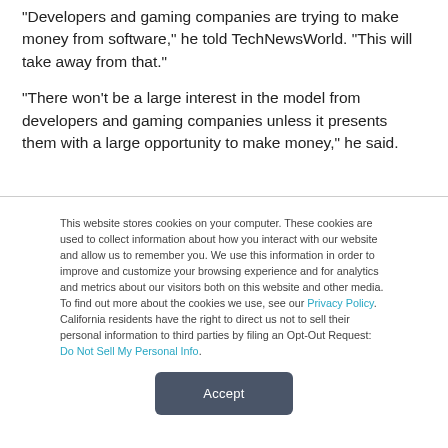“Developers and gaming companies are trying to make money from software,” he told TechNewsWorld. “This will take away from that.”
“There won’t be a large interest in the model from developers and gaming companies unless it presents them with a large opportunity to make money,” he said.
This website stores cookies on your computer. These cookies are used to collect information about how you interact with our website and allow us to remember you. We use this information in order to improve and customize your browsing experience and for analytics and metrics about our visitors both on this website and other media. To find out more about the cookies we use, see our Privacy Policy. California residents have the right to direct us not to sell their personal information to third parties by filing an Opt-Out Request: Do Not Sell My Personal Info.